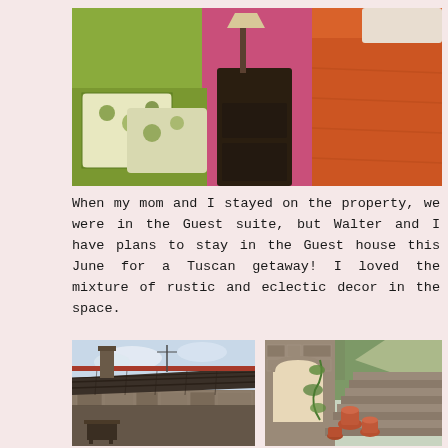[Figure (photo): Interior bedroom scene with colorful pillows (green floral pattern), a dark wooden nightstand, and an orange bedspread/blanket. Walls painted in green and pink/magenta tones.]
When my mom and I stayed on the property, we were in the Guest suite, but Walter and I have plans to stay in the Guest house this June for a Tuscan getaway! I loved the mixture of rustic and eclectic decor in the space.
[Figure (photo): Exterior of a rustic Tuscan stone building with traditional terracotta tiled roof, chimney, and a covered outdoor seating area visible underneath. Taken at dusk or dawn with soft sky.]
[Figure (photo): Rustic stone staircase with terracotta pots and climbing plants along the side of a stone arch building, with trees and sunlight filtering through in the background.]